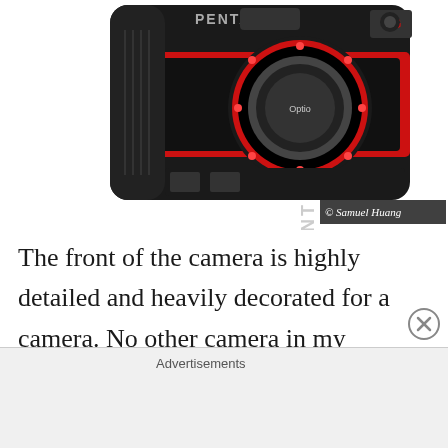[Figure (photo): Front view of a Pentax Optio WG-2 rugged digital camera in red and black, showing the lens with surrounding LED ring lights and angular body design]
The front of the camera is highly detailed and heavily decorated for a camera. No other camera in my opinion even comes close to how technical the WG-2 looks. There are lots of angles and straight lines and no curves anywhere, except around the lens. Most of the camera is made
Advertisements